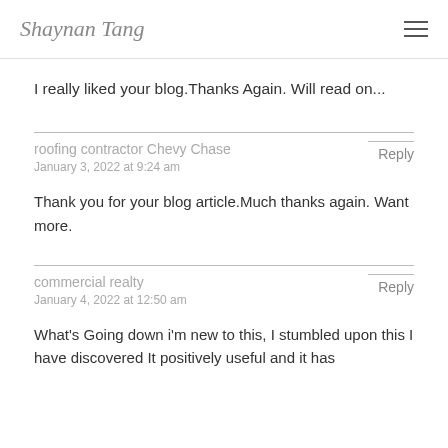Shaynan Tang
I really liked your blog.Thanks Again. Will read on...
roofing contractor Chevy Chase
January 3, 2022 at 9:24 am
Reply
Thank you for your blog article.Much thanks again. Want more.
commercial realty
January 4, 2022 at 12:50 am
Reply
What's Going down i'm new to this, I stumbled upon this I have discovered It positively useful and it has